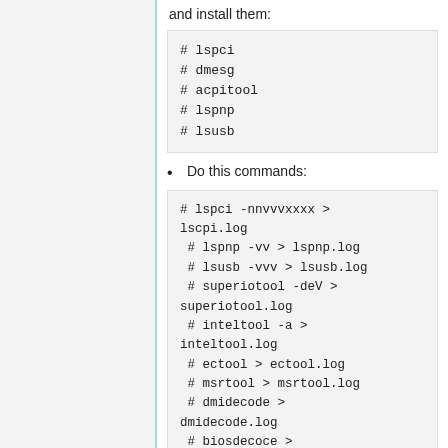and install them:
# lspci
# dmesg
# acpitool
# lspnp
# lsusb
Do this commands:
# lspci -nnvvvxxxx > lscpi.log
 # lspnp -vv > lspnp.log
 # lsusb -vvv > lsusb.log
 # superiotool -deV > superiotool.log
 # inteltool -a > inteltool.log
 # ectool > ectool.log
 # msrtool > msrtool.log
 # dmidecode > dmidecode.log
 # biosdecoce >